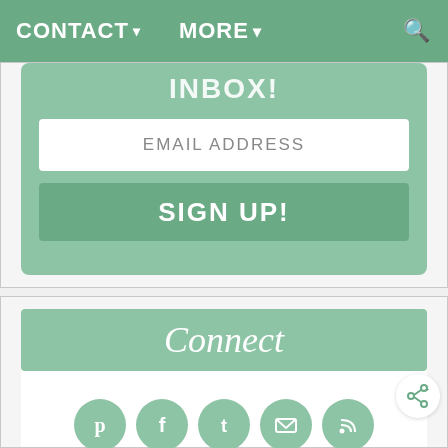CONTACT▾   MORE▾
INBOX!
EMAIL ADDRESS
SIGN UP!
Connect
[Figure (infographic): Row of five circular green social media icons: Pinterest, Facebook, Twitter, Email, RSS]
About
Contact